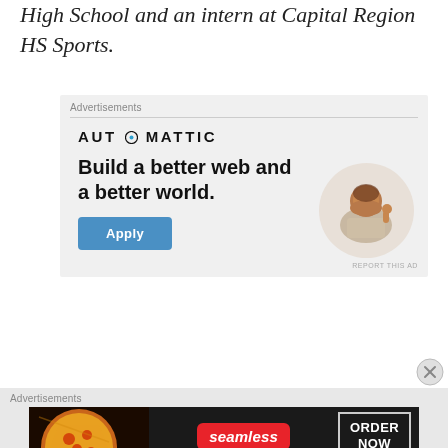High School and an intern at Capital Region HS Sports.
[Figure (screenshot): Automattic advertisement: 'Build a better web and a better world.' with an Apply button and a photo of a person thinking, on a light grey background.]
[Figure (screenshot): Seamless food delivery advertisement banner with pizza image, Seamless red logo, and 'ORDER NOW' button on dark background.]